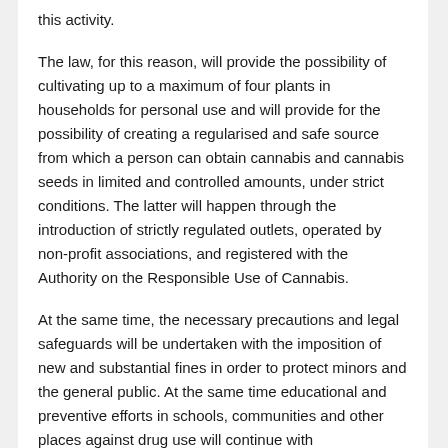this activity.
The law, for this reason, will provide the possibility of cultivating up to a maximum of four plants in households for personal use and will provide for the possibility of creating a regularised and safe source from which a person can obtain cannabis and cannabis seeds in limited and controlled amounts, under strict conditions. The latter will happen through the introduction of strictly regulated outlets, operated by non-profit associations, and registered with the Authority on the Responsible Use of Cannabis.
At the same time, the necessary precautions and legal safeguards will be undertaken with the imposition of new and substantial fines in order to protect minors and the general public. At the same time educational and preventive efforts in schools, communities and other places against drug use will continue with